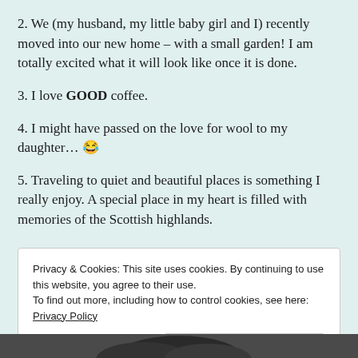2. We (my husband, my little baby girl and I) recently moved into our new home – with a small garden! I am totally excited what it will look like once it is done.
3. I love GOOD coffee.
4. I might have passed on the love for wool to my daughter… 😂
5. Traveling to quiet and beautiful places is something I really enjoy. A special place in my heart is filled with memories of the Scottish highlands.
Privacy & Cookies: This site uses cookies. By continuing to use this website, you agree to their use. To find out more, including how to control cookies, see here: Privacy Policy. Close and accept
[Figure (photo): Partial view of a person's head/hair at the bottom of the page]